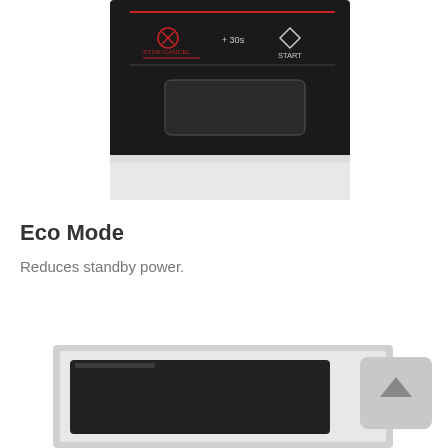[Figure (photo): Close-up photo of a microwave oven control panel showing black surface with STOP/CANCEL button (red icon), +30s button, and START button (diamond icon). Below is a white/silver body section of the microwave.]
Eco Mode
Reduces standby power.
[Figure (photo): Partial photo of a microwave oven showing the silver/stainless steel door with a dark viewing window panel, cropped at the bottom of the page.]